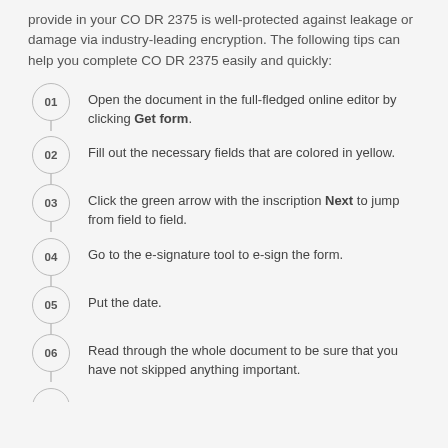provide in your CO DR 2375 is well-protected against leakage or damage via industry-leading encryption. The following tips can help you complete CO DR 2375 easily and quickly:
Open the document in the full-fledged online editor by clicking Get form.
Fill out the necessary fields that are colored in yellow.
Click the green arrow with the inscription Next to jump from field to field.
Go to the e-signature tool to e-sign the form.
Put the date.
Read through the whole document to be sure that you have not skipped anything important.